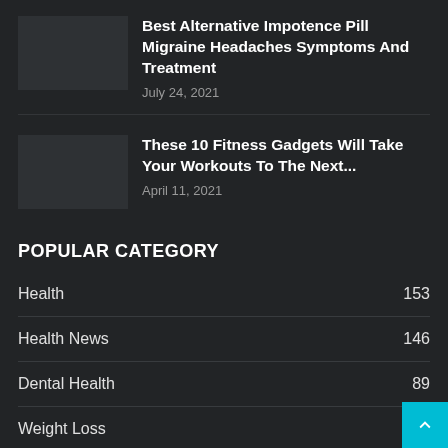Best Alternative Impotence Pill Migraine Headaches Symptoms And Treatment
July 24, 2021
These 10 Fitness Gadgets Will Take Your Workouts To The Next...
April 11, 2021
POPULAR CATEGORY
Health 153
Health News 146
Dental Health 89
Weight Loss 65
News 19
Food